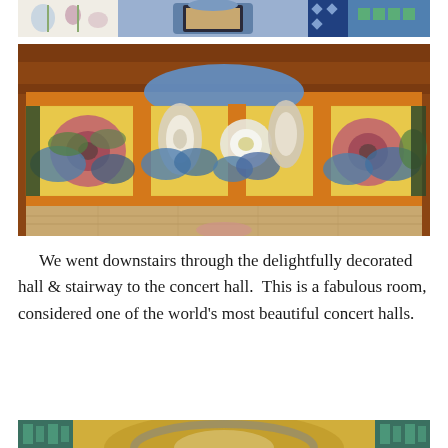[Figure (photo): Top strip showing colorful decorative tiles and mosaic artwork - floral and geometric patterns in blue, red, and green on white background]
[Figure (photo): Large interior photo of a decorated hall with ornate mosaic tile frieze featuring large pink and white flower motifs with blue and green leaves on a gold/orange border, above plain tan/beige lower tiles. Brown brick wall visible at top. Corner of a room visible.]
We went downstairs through the delightfully decorated hall & stairway to the concert hall.  This is a fabulous room, considered one of the world's most beautiful concert halls.
[Figure (photo): Bottom portion of photo showing ornate architectural detail - an arched ceiling or dome with gold/yellow textured surface and decorative border with teal/green geometric patterns]